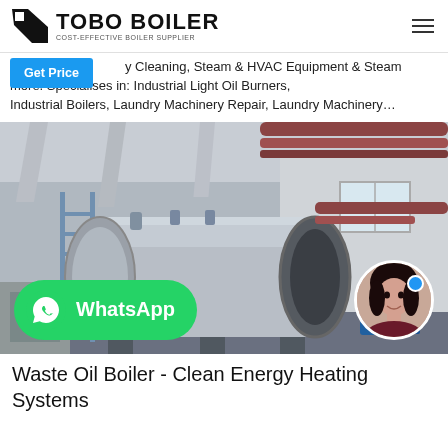TOBO BOILER — COST-EFFECTIVE BOILER SUPPLIER
y Cleaning, Steam & HVAC Equipment & Steam more. Specialises in: Industrial Light Oil Burners, Industrial Boilers, Laundry Machinery Repair, Laundry Machinery...
[Figure (photo): Industrial boiler room with large horizontal cylindrical steel boiler, piping, and metal scaffolding. WhatsApp button overlay at bottom left. Female avatar with online status indicator at bottom right.]
Waste Oil Boiler - Clean Energy Heating Systems